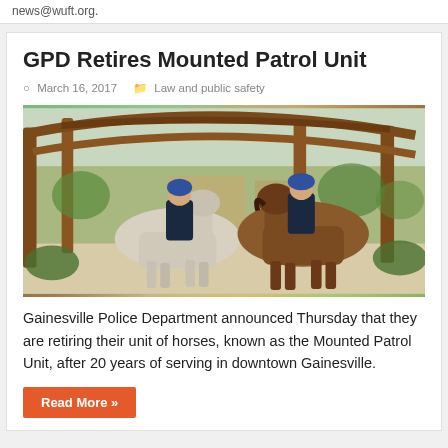news@wuft.org.
GPD Retires Mounted Patrol Unit
March 16, 2017   Law and public safety
[Figure (photo): Two police officers in uniform and helmets riding horses — one white horse and one brown horse — under a wooden pergola structure outdoors in Gainesville.]
Gainesville Police Department announced Thursday that they are retiring their unit of horses, known as the Mounted Patrol Unit, after 20 years of serving in downtown Gainesville.
Read More »